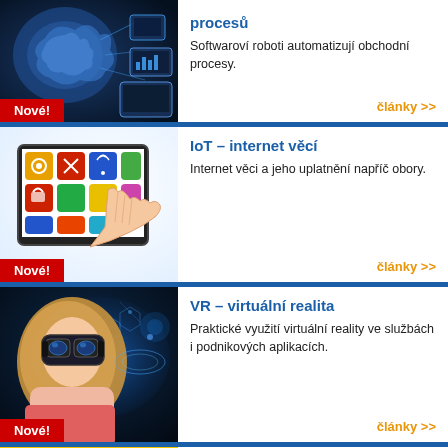[Figure (illustration): Technology/AI image with brain and digital devices, blue tones. Red badge 'Nové!' at bottom left.]
procesů
Softwaroví roboti automatizují obchodní procesy.
články >>
[Figure (illustration): IoT colorful app icons on tablet with hand touching screen. Red badge 'Nové!' at bottom left.]
IoT – internet věcí
Internet věci a jeho uplatnění napříč obory.
články >>
[Figure (illustration): Woman wearing VR headset with blue digital background. Red badge 'Nové!' at bottom left.]
VR – virtuální realita
Praktické využití virtuální reality ve službách i podnikových aplikacích.
články >>
[Figure (illustration): Bank card on yellow background (partial view). BankID section.]
Bankovní identita (BankID)